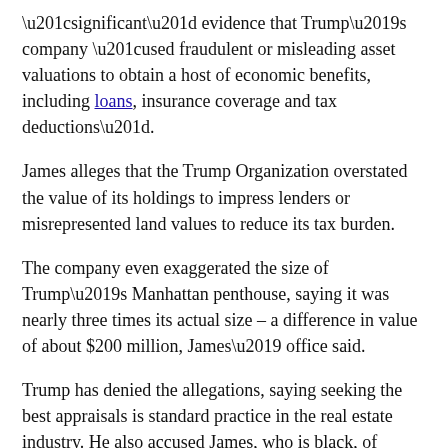“significant” evidence that Trump’s company “used fraudulent or misleading asset valuations to obtain a host of economic benefits, including loans, insurance coverage and tax deductions”.
James alleges that the Trump Organization overstated the value of its holdings to impress lenders or misrepresented land values to reduce its tax burden.
The company even exaggerated the size of Trump’s Manhattan penthouse, saying it was nearly three times its actual size – a difference in value of about $200 million, James’ office said.
Trump has denied the allegations, saying seeking the best appraisals is standard practice in the real estate industry. He also accused James, who is black, of racism in pursuing the investigation.
People generally don’t have a constitutional right to avoid questions in a civil lawsuit, but Trump’s legal team fought James’ attempt to question him for months, arguing that the prosecutor’s parallel investigation district created a risk that he could face criminal charges. Lawyers from James’ office participated in this criminal investigation.
Manhattan Judge Arthur Engoron ruled that James’s office had a “clear right” to question Trump and other executives at his